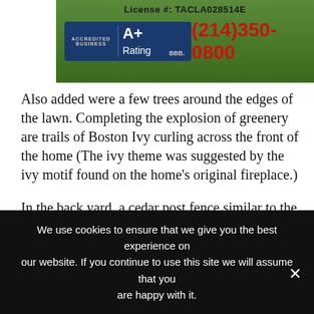[Figure (other): Banner with green background showing BBB Accredited Business A+ Rating badge and phone number (214)350-0800, with License #: TACLA028514E at top]
Also added were a few trees around the edges of the lawn. Completing the explosion of greenery are trails of Boston Ivy curling across the front of the home (The ivy theme was suggested by the ivy motif found on the home’s original fireplace.)
In the back yard, a cedar post fence similar to the one in front surrounds the family’s vegetable garden. A covered patio includes
We use cookies to ensure that we give you the best experience on our website. If you continue to use this site we will assume that you are happy with it.